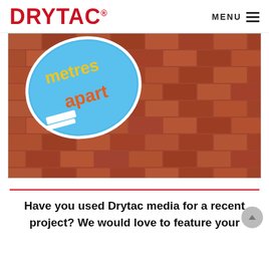DRYTAC | MENU
[Figure (photo): Photo of a brick/paved ground with a blue oval floor sticker reading 'metres apart' in orange and yellow lettering, used as a social distancing marker.]
Have you used Drytac media for a recent project? We would love to feature your